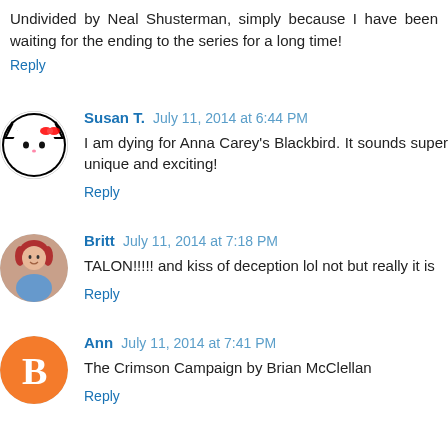Undivided by Neal Shusterman, simply because I have been waiting for the ending to the series for a long time!
Reply
Susan T. July 11, 2014 at 6:44 PM
I am dying for Anna Carey's Blackbird. It sounds super unique and exciting!
Reply
Britt July 11, 2014 at 7:18 PM
TALON!!!!! and kiss of deception lol not but really it is
Reply
Ann July 11, 2014 at 7:41 PM
The Crimson Campaign by Brian McClellan
Reply